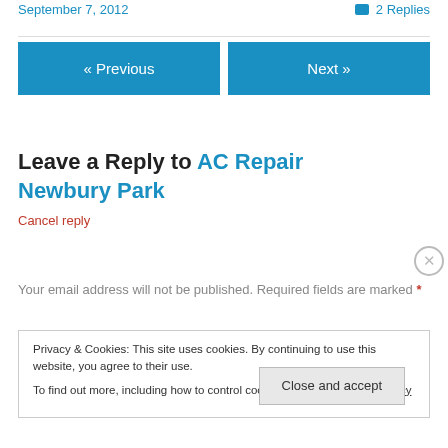September 7, 2012
2 Replies
« Previous
Next »
Leave a Reply to AC Repair Newbury Park
Cancel reply
Your email address will not be published. Required fields are marked *
Privacy & Cookies: This site uses cookies. By continuing to use this website, you agree to their use.
To find out more, including how to control cookies, see here: Cookie Policy
Close and accept